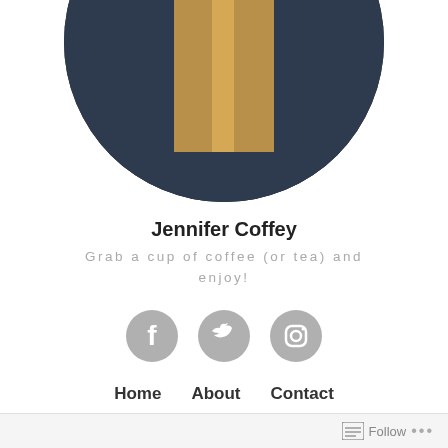[Figure (photo): Circular profile photo showing a Starbucks cup or similar coffee cup against a dark navy background]
Jennifer Coffey
Grab a cup of coffee (or tea) and enjoy!
[Figure (infographic): Three social media icons: Facebook, Twitter, Instagram, rendered as grey circular buttons]
Home  About  Contact
Mash-Up Ideation
Follow  ...